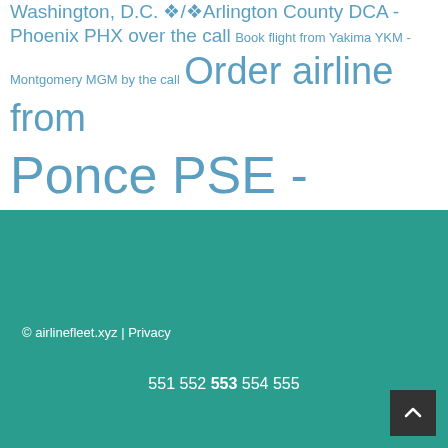Washington, D.C. ❖/❖Arlington County DCA - Phoenix PHX over the call Book flight from Yakima YKM - Montgomery MGM by the call Order airline from Ponce PSE - Honolulu, Oahu HNL on the phone Order airline ticket from Mobile MOB to Fort Walton Beach VPS by the phone
© airlinefleet.xyz | Privacy
551 552 553 554 555